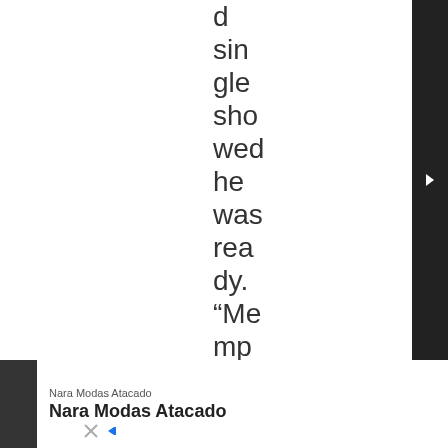d sin gle sho wed he was rea dy. “Me mp his Ble ek Is”